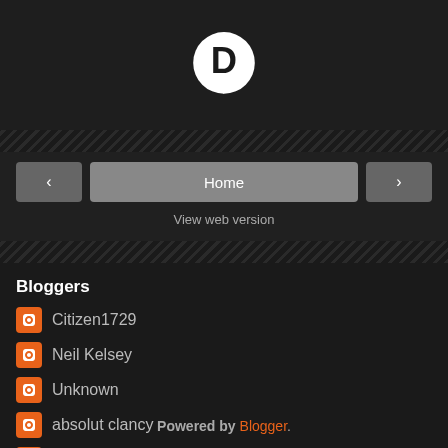[Figure (logo): Disqus logo — white speech bubble with bold black D]
[Figure (other): Navigation bar with left arrow button, Home button, right arrow button, and View web version link]
Bloggers
Citizen1729
Neil Kelsey
Unknown
absolut clancy
rappoccio
Powered by Blogger.